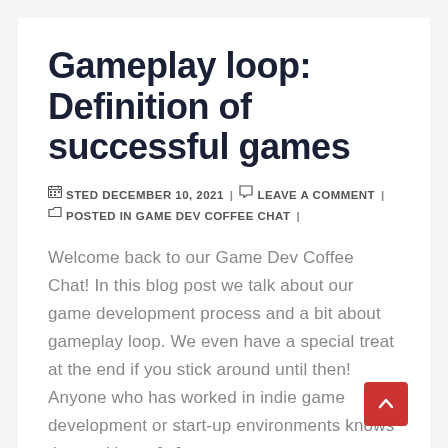Gameplay loop: Definition of successful games
STED DECEMBER 10, 2021 | LEAVE A COMMENT | POSTED IN GAME DEV COFFEE CHAT |
Welcome back to our Game Dev Coffee Chat! In this blog post we talk about our game development process and a bit about gameplay loop. We even have a special treat at the end if you stick around until then! Anyone who has worked in indie game development or start-up environments knows that making a [...]